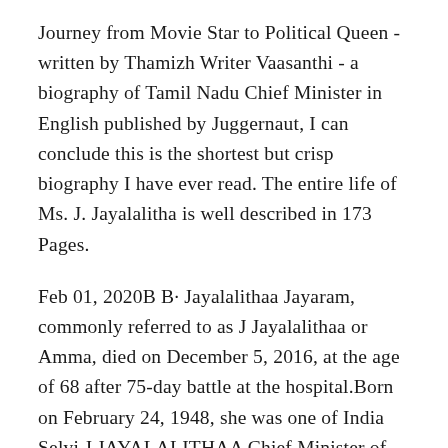Journey from Movie Star to Political Queen - written by Thamizh Writer Vaasanthi - a biography of Tamil Nadu Chief Minister in English published by Juggernaut, I can conclude this is the shortest but crisp biography I have ever read. The entire life of Ms. J. Jayalalitha is well described in 173 Pages.
Feb 01, 2020B B· Jayalalithaa Jayaram, commonly referred to as J Jayalalithaa or Amma, died on December 5, 2016, at the age of 68 after 75-day battle at the hospital.Born on February 24, 1948, she was one of India Selvi J JAYALALITHAA Chief Minister of Tamil Nadu FIFTY FIRST NATIONAL DEVELOPMENT COUNCIL 27-6-2005 New Delhi . Hon'ble Prime Minister, programmes will make